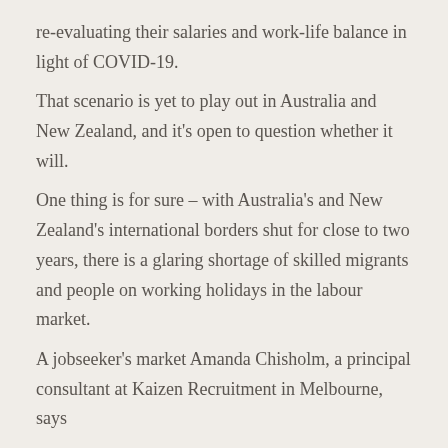re-evaluating their salaries and work-life balance in light of COVID-19.
That scenario is yet to play out in Australia and New Zealand, and it's open to question whether it will.
One thing is for sure – with Australia's and New Zealand's international borders shut for close to two years, there is a glaring shortage of skilled migrants and people on working holidays in the labour market.
A jobseeker's market Amanda Chisholm, a principal consultant at Kaizen Recruitment in Melbourne, says